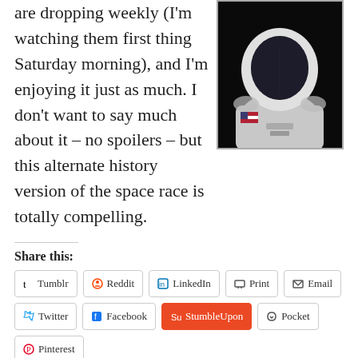are dropping weekly (I'm watching them first thing Saturday morning), and I'm enjoying it just as much. I don't want to say much about it – no spoilers – but this alternate history version of the space race is totally compelling.
[Figure (photo): Close-up photo of an astronaut in a white space suit with a US flag patch, dark background. The helmet visor reflects a silhouette.]
Share this:
Tumblr
Reddit
LinkedIn
Print
Email
Twitter
Facebook
StumbleUpon
Pocket
Pinterest
Like